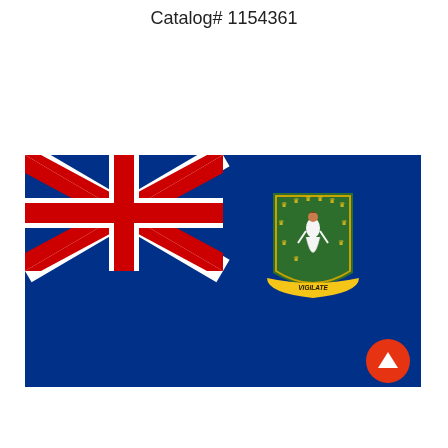Catalog# 1154361
[Figure (illustration): Flag of the British Virgin Islands — blue ensign with Union Jack in the upper left canton and the territory's coat of arms on the right side. The coat of arms shows Saint Ursula on a green shield with eleven lamps and a scroll reading VIGILATE.]